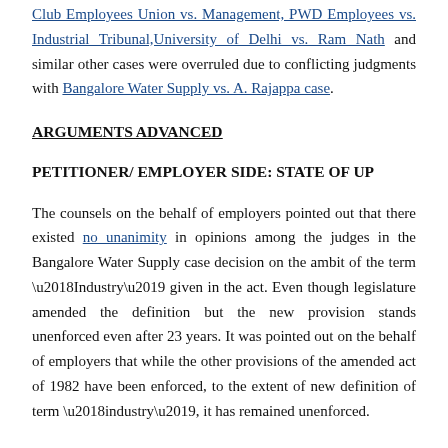Club Employees Union vs. Management, PWD Employees vs. Industrial Tribunal, University of Delhi vs. Ram Nath and similar other cases were overruled due to conflicting judgments with Bangalore Water Supply vs. A. Rajappa case.
ARGUMENTS ADVANCED
PETITIONER/ EMPLOYER SIDE: STATE OF UP
The counsels on the behalf of employers pointed out that there existed no unanimity in opinions among the judges in the Bangalore Water Supply case decision on the ambit of the term ‘Industry’ given in the act. Even though legislature amended the definition but the new provision stands unenforced even after 23 years. It was pointed out on the behalf of employers that while the other provisions of the amended act of 1982 have been enforced, to the extent of new definition of term ‘industry’, it has remained unenforced.